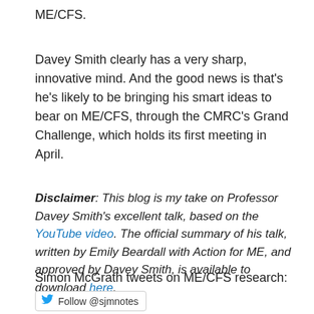ME/CFS.
Davey Smith clearly has a very sharp, innovative mind. And the good news is that's he's likely to be bringing his smart ideas to bear on ME/CFS, through the CMRC's Grand Challenge, which holds its first meeting in April.
Disclaimer: This blog is my take on Professor Davey Smith's excellent talk, based on the YouTube video. The official summary of his talk, written by Emily Beardall with Action for ME, and approved by Davey Smith, is available to download here.
Simon McGrath tweets on ME/CFS research:
Follow @sjmnotes